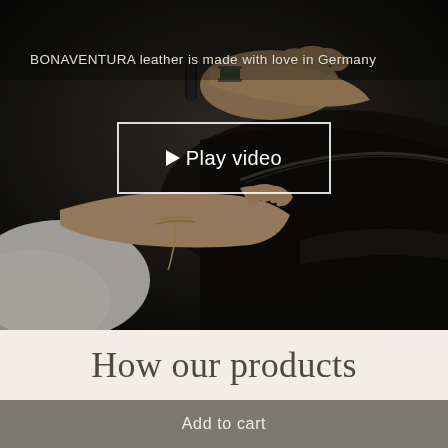[Figure (photo): Close-up photograph of a person's hands working with dark leather material. The person wears a white sleeve and a thin cord bracelet on their wrist. Shot in a workshop/manufacturing setting with dim lighting.]
BONAVENTURA leather is made with love in Germany
▶ Play video
How our products
Add to cart